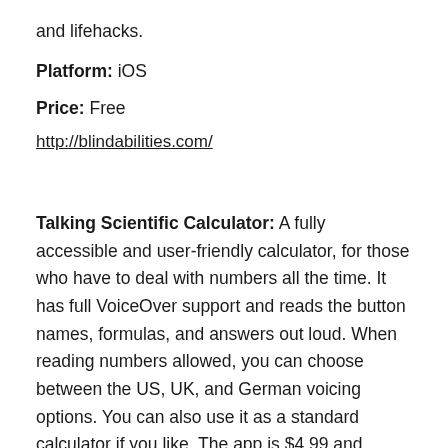and lifehacks.
Platform: iOS
Price: Free
http://blindabilities.com/
Talking Scientific Calculator: A fully accessible and user-friendly calculator, for those who have to deal with numbers all the time. It has full VoiceOver support and reads the button names, formulas, and answers out loud. When reading numbers allowed, you can choose between the US, UK, and German voicing options. You can also use it as a standard calculator if you like. The app is $4.99 and available only on iOS for now.